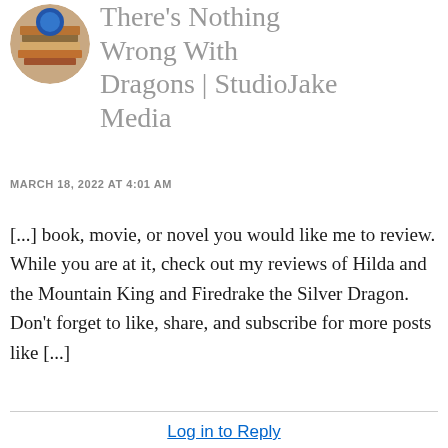[Figure (photo): Circular avatar image showing a stack of books with a blue circular element on top, used as a profile picture for StudioJake Media]
Dragon Review There's Nothing Wrong With Dragons | StudioJake Media
MARCH 18, 2022 AT 4:01 AM
[...] book, movie, or novel you would like me to review. While you are at it, check out my reviews of Hilda and the Mountain King and Firedrake the Silver Dragon. Don't forget to like, share, and subscribe for more posts like [...]
Log in to Reply